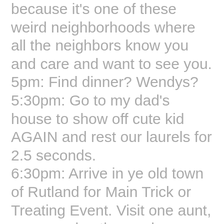because it's one of these weird neighborhoods where all the neighbors know you and care and want to see you. 5pm: Find dinner? Wendys? 5:30pm: Go to my dad's house to show off cute kid AGAIN and rest our laurels for 2.5 seconds. 6:30pm: Arrive in ye old town of Rutland for Main Trick or Treating Event. Visit one aunt, one grandmother and one great aunt while in town.